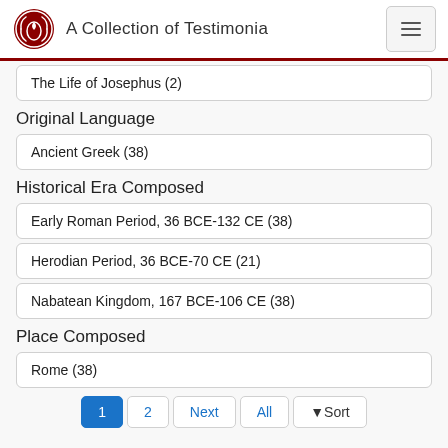A Collection of Testimonia
The Life of Josephus (2)
Original Language
Ancient Greek (38)
Historical Era Composed
Early Roman Period, 36 BCE-132 CE (38)
Herodian Period, 36 BCE-70 CE (21)
Nabatean Kingdom, 167 BCE-106 CE (38)
Place Composed
Rome (38)
1  2  Next  All  Sort